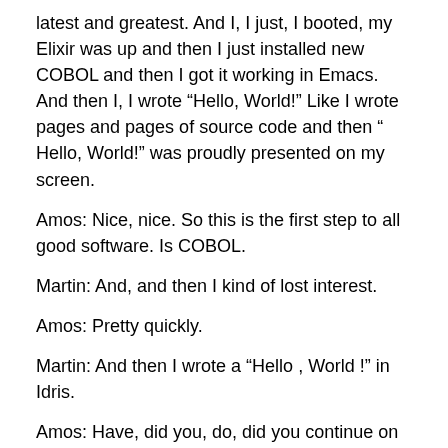latest and greatest. And I, I just, I booted, my Elixir was up and then I just installed new COBOL and then I got it working in Emacs. And then I, I wrote “Hello, World!” Like I wrote pages and pages of source code and then “ Hello, World!” was proudly presented on my screen.
Amos: Nice, nice. So this is the first step to all good software. Is COBOL.
Martin: And, and then I kind of lost interest.
Amos: Pretty quickly.
Martin: And then I wrote a “Hello , World !” in Idris.
Amos: Have, did you, do, did you continue on the Idris at all?
Martin: Uh, I started reading the book, so, Idris is something that has been on my radar for a long